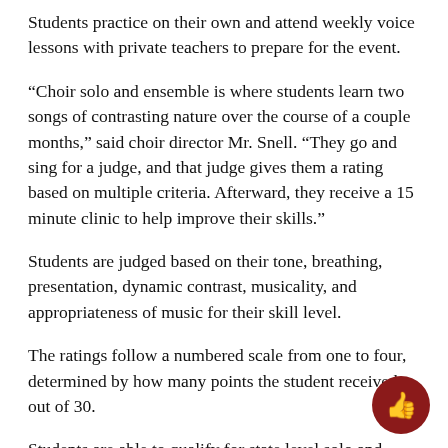Students practice on their own and attend weekly voice lessons with private teachers to prepare for the event.
“Choir solo and ensemble is where students learn two songs of contrasting nature over the course of a couple months,” said choir director Mr. Snell. “They go and sing for a judge, and that judge gives them a rating based on multiple criteria. Afterward, they receive a 15 minute clinic to help improve their skills.”
Students are judged based on their tone, breathing, presentation, dynamic contrast, musicality, and appropriateness of music for their skill level.
The ratings follow a numbered scale from one to four, determined by how many points the student received out of 30.
Students are able to qualify for state level solo and